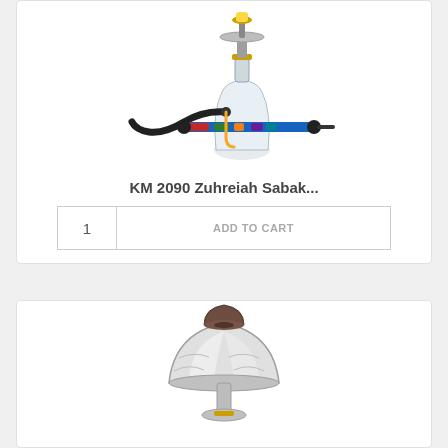[Figure (photo): Product photo of a hookah (KM 2090 Zuhreiah Sabak) with a glass base, decorative stem, and a black hose with colorful mouthpiece, displayed on white background.]
KM 2090 Zuhreiah Sabak...
[Figure (other): An 'Add to Cart' UI widget with a quantity input box showing '1' and an 'ADD TO CART' button.]
[Figure (photo): Partial product photo of a second hookah item showing a silver/metallic bell-shaped body with a brown clay bowl on top, on a white background.]